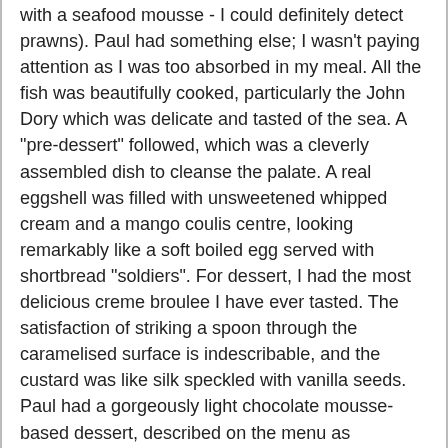with a seafood mousse - I could definitely detect prawns). Paul had something else; I wasn't paying attention as I was too absorbed in my meal. All the fish was beautifully cooked, particularly the John Dory which was delicate and tasted of the sea. A "pre-dessert" followed, which was a cleverly assembled dish to cleanse the palate. A real eggshell was filled with unsweetened whipped cream and a mango coulis centre, looking remarkably like a soft boiled egg served with shortbread "soldiers". For dessert, I had the most delicious creme broulee I have ever tasted. The satisfaction of striking a spoon through the caramelised surface is indescribable, and the custard was like silk speckled with vanilla seeds. Paul had a gorgeously light chocolate mousse-based dessert, described on the menu as "Something chocolate??!!" (which indicated to me that they hadn't made up their mind what it would be before they printed the evening's menus, or it was a question posed to the diner). Service was very friendly, with servers attending to us frequently throughout the meal. I assumed that the Tanners wouldn't actually be there - after all, surely they had more glamorous things to do on a Saturday night and a celebrity chef probably doesn't even work in his own restaurant. As I